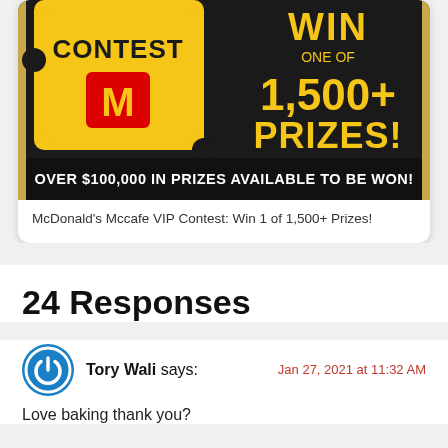[Figure (illustration): McDonald's McCafe VIP Contest promotional banner. Black background with gold text reading 'CONTEST' and 'WIN ONE OF 1,500+ PRIZES!' with McDonald's golden arches logo on a yellow sticker shape. White text at bottom: 'OVER $100,000 IN PRIZES AVAILABLE TO BE WON!']
McDonald's Mccafe VIP Contest: Win 1 of 1,500+ Prizes!
24 Responses
Tory Wali says: Jan 27, 2021 at 11:32 AM
Love baking thank you?